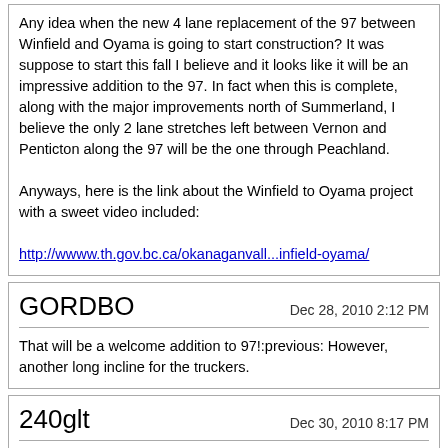Any idea when the new 4 lane replacement of the 97 between Winfield and Oyama is going to start construction? It was suppose to start this fall I believe and it looks like it will be an impressive addition to the 97. In fact when this is complete, along with the major improvements north of Summerland, I believe the only 2 lane stretches left between Vernon and Penticton along the 97 will be the one through Peachland.

Anyways, here is the link about the Winfield to Oyama project with a sweet video included:

http://wwww.th.gov.bc.ca/okanaganvall...infield-oyama/
GORDBO
Dec 28, 2010 2:12 PM
That will be a welcome addition to 97!:previous: However, another long incline for the truckers.
240glt
Dec 30, 2010 8:17 PM
^ gald to see the integrity of Wood lake will be maintained by running the highway up the hill. The old 97 could turn into a nice road biking route with all the traffic re-routed off it!
Phil McAvity
Jan 3, 2011 2:13 AM